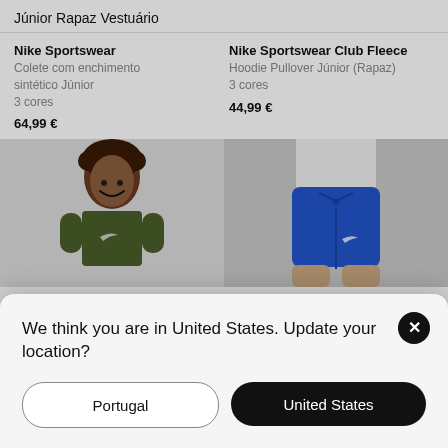Júnior Rapaz Vestuário
Nike Sportswear
Colete com enchimento sintético Júnior
3 cores
64,99 €
Nike Sportswear Club Fleece
Hoodie Pullover Júnior (Rapaz)
3 cores
44,99 €
[Figure (photo): Boy wearing dark green Nike t-shirt, smiling]
[Figure (photo): Blue Nike shorts with drawstring, worn by youth]
Nike S
Sweatshirt Júnior (Rapaz)
Calções Júnior (Rapaz)
We think you are in United States. Update your location?
Portugal
United States